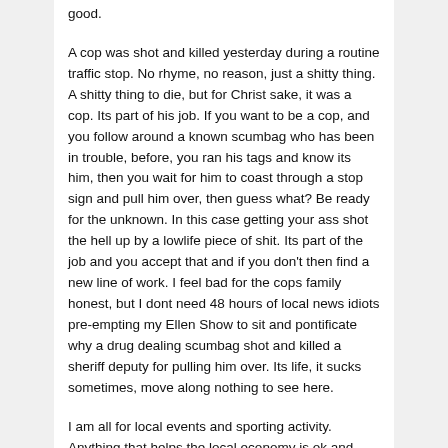good.
A cop was shot and killed yesterday during a routine traffic stop. No rhyme, no reason, just a shitty thing. A shitty thing to die, but for Christ sake, it was a cop. Its part of his job. If you want to be a cop, and you follow around a known scumbag who has been in trouble, before, you ran his tags and know its him, then you wait for him to coast through a stop sign and pull him over, then guess what? Be ready for the unknown. In this case getting your ass shot the hell up by a lowlife piece of shit. Its part of the job and you accept that and if you don't then find a new line of work. I feel bad for the cops family honest, but I dont need 48 hours of local news idiots pre-empting my Ellen Show to sit and pontificate why a drug dealing scumbag shot and killed a sheriff deputy for pulling him over. Its life, it sucks sometimes, move along nothing to see here.
I am all for local events and sporting activity. Anything that helps the local economy is ok and good in my book. The last fifteen or so years PGA national has been putting on the Honda Classic golf tournament. Last year El Tigre' or